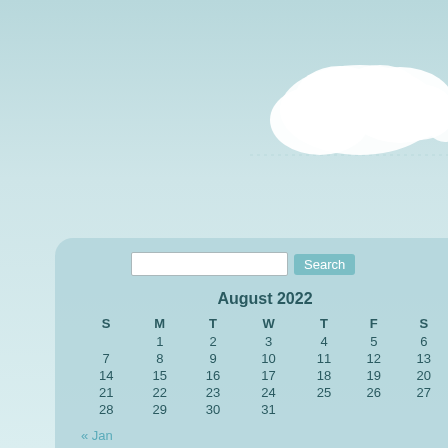[Figure (illustration): Light blue gradient sky background with white fluffy cloud in upper right area]
"I don't believe that libra
« Lowdown on the Teen Book Festiva
April is
April 11th, 2007 by cathy
April is the month that we celebrate p
Anyway, I'm going to have a "blog onl
turtle in the sun
dances on the warm rock face
be still, you may fall!
Then later on, I wrote this poem. I like
depressing, which I'm not really exce
Not !!
| S | M | T | W | T | F | S |
| --- | --- | --- | --- | --- | --- | --- |
|  | 1 | 2 | 3 | 4 | 5 | 6 |
| 7 | 8 | 9 | 10 | 11 | 12 | 13 |
| 14 | 15 | 16 | 17 | 18 | 19 | 20 |
| 21 | 22 | 23 | 24 | 25 | 26 | 27 |
| 28 | 29 | 30 | 31 |  |  |  |
« Jan
I'm a twit